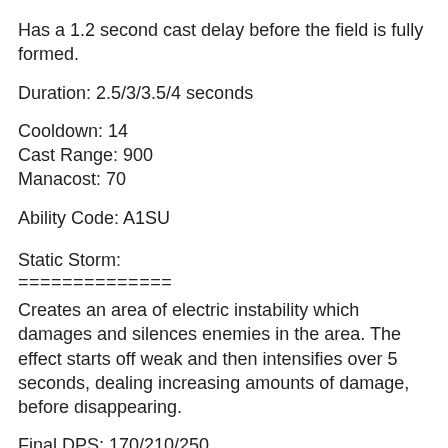Has a 1.2 second cast delay before the field is fully formed.
Duration: 2.5/3/3.5/4 seconds
Cooldown: 14
Cast Range: 900
Manacost: 70
Ability Code: A1SU
Static Storm:
==============
Creates an area of electric instability which damages and silences enemies in the area. The effect starts off weak and then intensifies over 5 seconds, dealing increasing amounts of damage, before disappearing.
Final DPS: 170/210/250
AOE: 375
Manacost: 125/175/225
Cooldown: 60